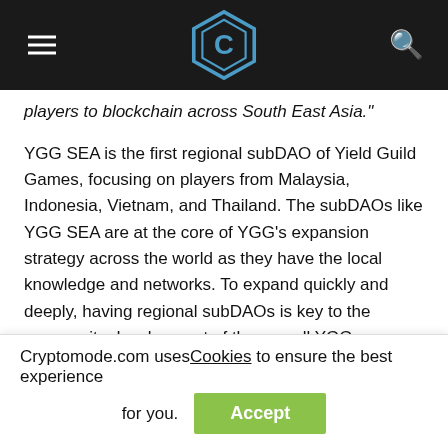[CryptoMode logo, hamburger menu, search icon]
players to blockchain across South East Asia."
YGG SEA is the first regional subDAO of Yield Guild Games, focusing on players from Malaysia, Indonesia, Vietnam, and Thailand. The subDAOs like YGG SEA are at the core of YGG’s expansion strategy across the world as they have the local knowledge and networks. To expand quickly and deeply, having regional subDAOs is key to the community development of the overall YGG ecosystem.
In YGG Ecosystem, the goal is not just to onboard players as scholars; but also to be the bridge that brings the Web2
Cryptomode.com uses Cookies to ensure the best experience for you. Accept